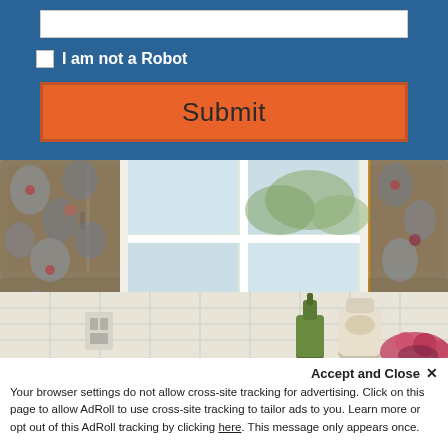I am not a Robot
Submit
[Figure (photo): Kitchen interior with wooden cabinets, floral wallpaper, large white-framed window with outdoor view, white tile backsplash, green bottle and white ceramic vase on counter, flowers in foreground]
Accept and Close ✕
Your browser settings do not allow cross-site tracking for advertising. Click on this page to allow AdRoll to use cross-site tracking to tailor ads to you. Learn more or opt out of this AdRoll tracking by clicking here. This message only appears once.